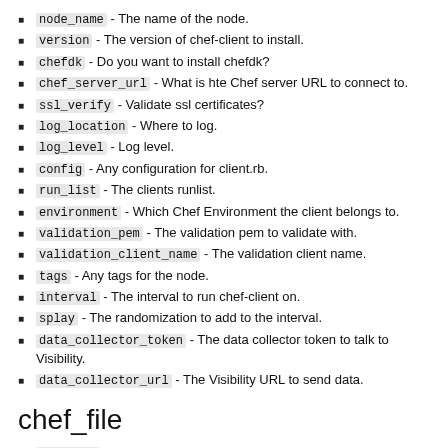node_name - The name of the node.
version - The version of chef-client to install.
chefdk - Do you want to install chefdk?
chef_server_url - What is hte Chef server URL to connect to.
ssl_verify - Validate ssl certificates?
log_location - Where to log.
log_level - Log level.
config - Any configuration for client.rb.
run_list - The clients runlist.
environment - Which Chef Environment the client belongs to.
validation_pem - The validation pem to validate with.
validation_client_name - The validation client name.
tags - Any tags for the node.
interval - The interval to run chef-client on.
splay - The randomization to add to the interval.
data_collector_token - The data collector token to talk to Visibility.
data_collector_url - The Visibility URL to send data.
chef_file
filename - The name of the resource.
source - The source of the file.